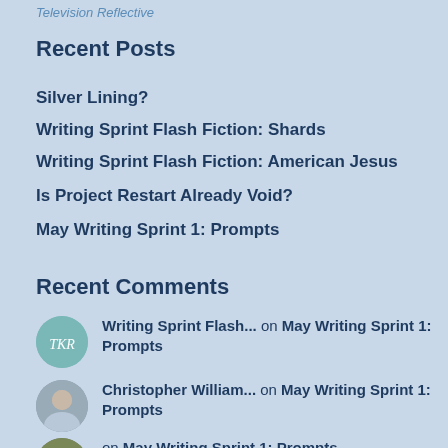Television Reflective
Recent Posts
Silver Lining?
Writing Sprint Flash Fiction: Shards
Writing Sprint Flash Fiction: American Jesus
Is Project Restart Already Void?
May Writing Sprint 1: Prompts
Recent Comments
Writing Sprint Flash... on May Writing Sprint 1: Prompts
Christopher William... on May Writing Sprint 1: Prompts
on May Writing Sprint 1: Prompts